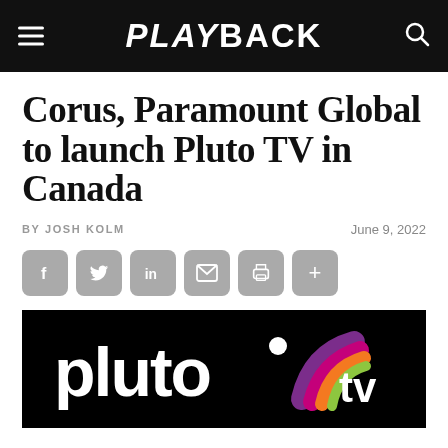PLAYBACK
Corus, Paramount Global to launch Pluto TV in Canada
BY JOSH KOLM   June 9, 2022
[Figure (logo): Pluto TV logo on black background — white lowercase 'pluto' text with a circular dot over the 'o', followed by a colourful arc 'tv' mark in purple, orange, and green.]